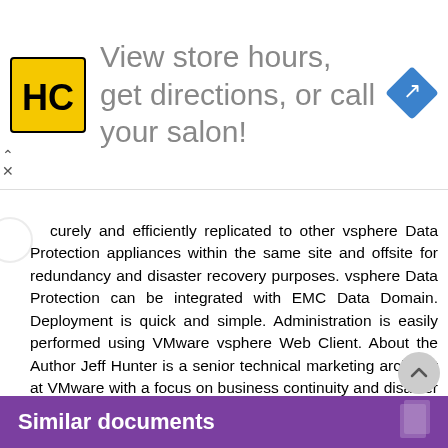[Figure (infographic): Advertisement banner: HC logo (yellow/black), text 'View store hours, get directions, or call your salon!', blue navigation diamond icon on right]
curely and efficiently replicated to other vsphere Data Protection appliances within the same site and offsite for redundancy and disaster recovery purposes. vsphere Data Protection can be integrated with EMC Data Domain. Deployment is quick and simple. Administration is easily performed using VMware vsphere Web Client. About the Author Jeff Hunter is a senior technical marketing architect at VMware with a focus on business continuity and disaster recovery solutions. He has been with VMware for more than 8 years, prior to which he spent several years implementing and administering VMware virtual infrastructures at two Fortune 500 companies. Follow Jeff on 13
Similar documents